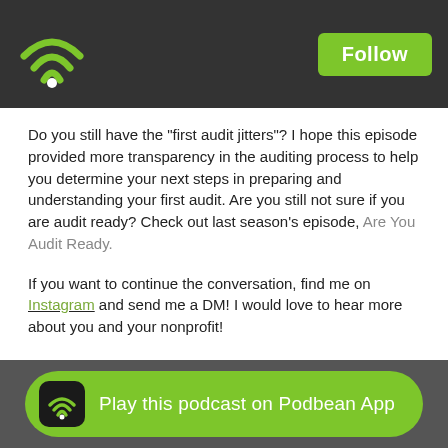Follow
Do you still have the "first audit jitters"? I hope this episode provided more transparency in the auditing process to help you determine your next steps in preparing and understanding your first audit. Are you still not sure if you are audit ready? Check out last season's episode, Are You Audit Ready.
If you want to continue the conversation, find me on Instagram and send me a DM! I would love to hear more about you and your nonprofit!
Are you enjoying the show? Be sure to head over to Apple Podcasts or Spotify and leave a rate and review of the show! I'd love to hear from you.
Play this podcast on Podbean App